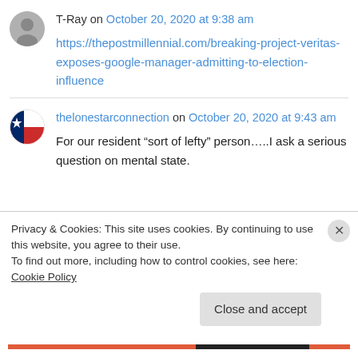T-Ray on October 20, 2020 at 9:38 am
https://thepostmillennial.com/breaking-project-veritas-exposes-google-manager-admitting-to-election-influence
thelonestarconnection on October 20, 2020 at 9:43 am
For our resident “sort of lefty” person…..I ask a serious question on mental state.
Privacy & Cookies: This site uses cookies. By continuing to use this website, you agree to their use.
To find out more, including how to control cookies, see here: Cookie Policy